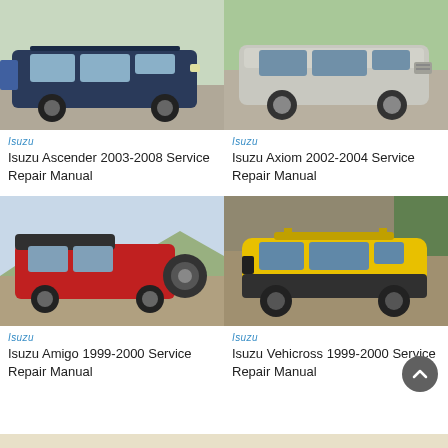[Figure (photo): Dark blue Isuzu Ascender SUV in a parking lot]
Isuzu
Isuzu Ascender 2003-2008 Service Repair Manual
[Figure (photo): Silver Isuzu Axiom SUV on a road with trees in background]
Isuzu
Isuzu Axiom 2002-2004 Service Repair Manual
[Figure (photo): Red Isuzu Amigo 2-door SUV on a dirt road]
Isuzu
Isuzu Amigo 1999-2000 Service Repair Manual
[Figure (photo): Yellow and black Isuzu Vehicross SUV on a dirt trail]
Isuzu
Isuzu Vehicross 1999-2000 Service Repair Manual